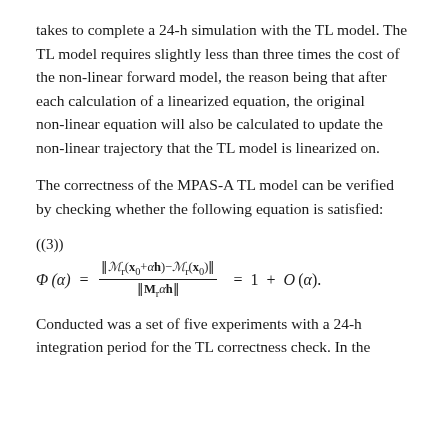takes to complete a 24-h simulation with the TL model. The TL model requires slightly less than three times the cost of the non-linear forward model, the reason being that after each calculation of a linearized equation, the original non-linear equation will also be calculated to update the non-linear trajectory that the TL model is linearized on.
The correctness of the MPAS-A TL model can be verified by checking whether the following equation is satisfied:
Conducted was a set of five experiments with a 24-h integration period for the TL correctness check. In the